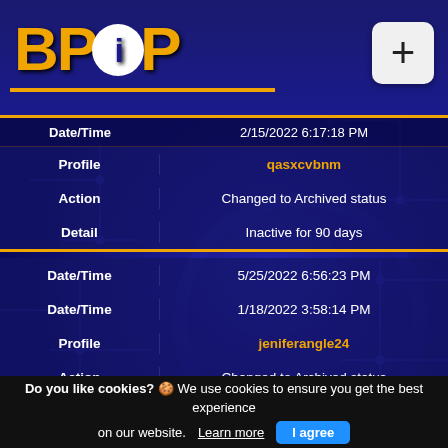[Figure (logo): BPiP logo with orange text and white circle around the letter i, plus a + button in top right]
| Field | Value |
| --- | --- |
| Date/Time | 2/15/2022 6:17:18 PM |
| Profile | qasxcvbnm |
| Action | Changed to Archived status |
| Detail | Inactive for 90 days |
| Field | Value |
| --- | --- |
| Date/Time | 5/25/2022 6:56:23 PM |
| Date/Time | 1/18/2022 3:58:14 PM |
| Profile | jeniferangle24 |
| Action | Changed to Archived status |
| Detail | Inactive for 90 days |
| Field | Value |
| --- | --- |
| Date/Time | 5/25/2022 6:54:15 PM |
| Date/Time | 2/17/2022 4:10:37 PM |
| Profile | BurntCabbage |
| Action | Changed to Archived status |
| Detail | Inactive for 90 days |
Do you like cookies? 🍪 We use cookies to ensure you get the best experience on our website. Learn more | I agree